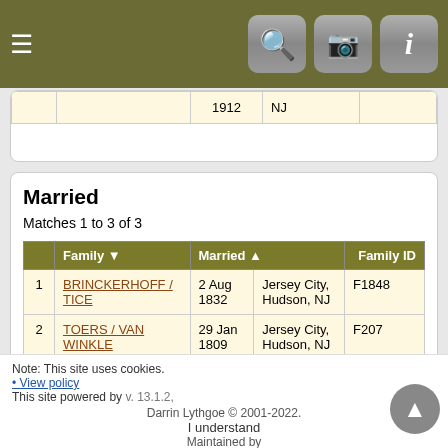Navigation bar with hamburger menu, search, camera, and info icons
|  |  | 1912 | NJ |  |
| --- | --- | --- | --- | --- |
Married
Matches 1 to 3 of 3
|  | Family | Married |  | Family ID |
| --- | --- | --- | --- | --- |
| 1 | BRINCKERHOFF / TICE | 2 Aug 1832 | Jersey City, Hudson, NJ | F1848 |
| 2 | TOERS / VAN WINKLE | 29 Jan 1809 | Jersey City, Hudson, NJ | F207 |
| 3 | VAN WINKLE / TUERS | 21 May 1808 | Jersey City, Hudson, NJ | F796 |
Switch to standard site
Note: This site uses cookies. • View policy This site powered by Darrin Lythgoe © 2001-2022. I understand Maintained by v. 13.1.2,